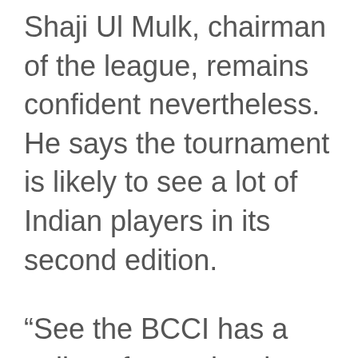Shaji Ul Mulk, chairman of the league, remains confident nevertheless. He says the tournament is likely to see a lot of Indian players in its second edition.
“See the BCCI has a policy of not releasing their players for any league in the world. It’s not just our league, but they don’t release their current players for